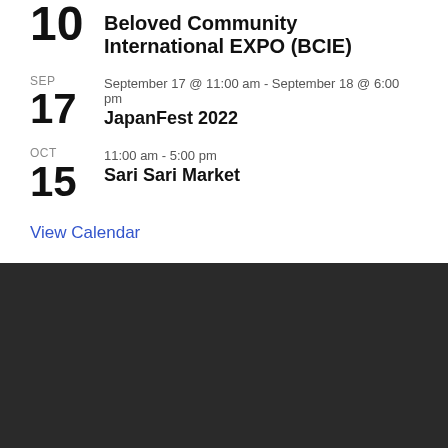10 Beloved Community International EXPO (BCIE)
SEP 17 September 17 @ 11:00 am - September 18 @ 6:00 pm JapanFest 2022
OCT 15 11:00 am - 5:00 pm Sari Sari Market
View Calendar